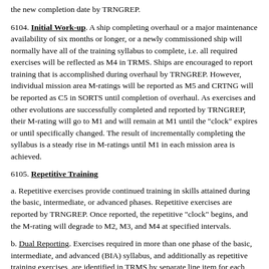the new completion date by TRNGREP.
6104. Initial Work-up. A ship completing overhaul or a major maintenance availability of six months or longer, or a newly commissioned ship will normally have all of the training syllabus to complete, i.e. all required exercises will be reflected as M4 in TRMS. Ships are encouraged to report training that is accomplished during overhaul by TRNGREP. However, individual mission area M-ratings will be reported as M5 and CRTNG will be reported as C5 in SORTS until completion of overhaul. As exercises and other evolutions are successfully completed and reported by TRNGREP, their M-rating will go to M1 and will remain at M1 until the "clock" expires or until specifically changed. The result of incrementally completing the syllabus is a steady rise in M-ratings until M1 in each mission area is achieved.
6105. Repetitive Training
a. Repetitive exercises provide continued training in skills attained during the basic, intermediate, or advanced phases. Repetitive exercises are reported by TRNGREP. Once reported, the repetitive "clock" begins, and the M-rating will degrade to M2, M3, and M4 at specified intervals.
b. Dual Reporting. Exercises required in more than one phase of the basic, intermediate, and advanced (BIA) syllabus, and additionally as repetitive training exercises, are identified in TRMS by separate line item for each iteration. An exercise appearing more than once in the BIA syllabus (e.g., in basic and intermediate phases) is explicitly intended to be accomplished and reported as a separate and distinct evolution. The repetitive iteration of this exercise may be reported as accomplished each and every time it is satisfactorily completed in the BIA syllabus. This feature will automatically be implemented by the TRMS